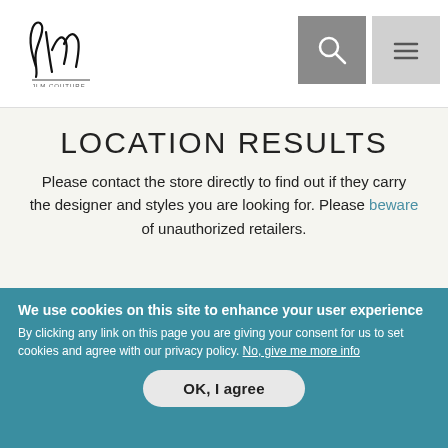[Figure (logo): JLM Couture logo - stylized script signature with 'JLM COUTURE' text below]
LOCATION RESULTS
Please contact the store directly to find out if they carry the designer and styles you are looking for. Please beware of unauthorized retailers.
STORE:
Adore Bridal & Specialty
LOCATION:
We use cookies on this site to enhance your user experience
By clicking any link on this page you are giving your consent for us to set cookies and agree with our privacy policy. No, give me more info
OK, I agree